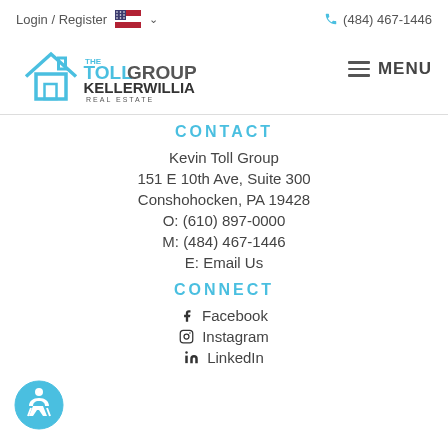Login / Register  (484) 467-1446
[Figure (logo): The Toll Group Keller Williams Real Estate logo with MENU button]
CONTACT
Kevin Toll Group
151 E 10th Ave, Suite 300
Conshohocken, PA 19428
O: (610) 897-0000
M: (484) 467-1446
E: Email Us
CONNECT
Facebook
Instagram
LinkedIn